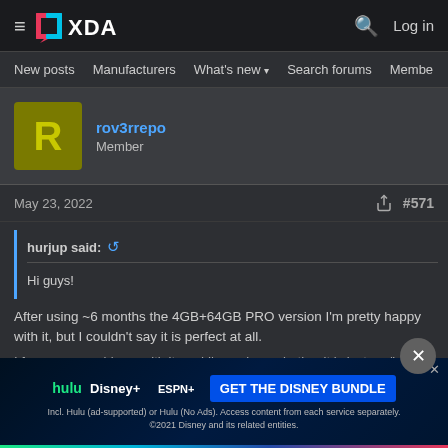XDA Forums — Navigation header with hamburger menu, XDA logo, search icon, Log in
New posts | Manufacturers | What's new | Search forums | Members
rov3rrepo
Member
May 23, 2022   #571
hurjup said:
Hi guys!

After using ~6 months the 4GB+64GB PRO version I'm pretty happy with it, but I couldn't say it is perfect at all.
I face some problems with it, and I'm curious whether it is just me/luck or are... additionally
[Figure (screenshot): Disney Bundle advertisement banner with Hulu, Disney+, ESPN+ logos and 'GET THE DISNEY BUNDLE' call-to-action button]